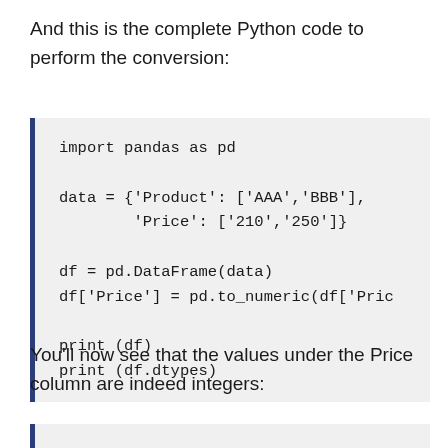And this is the complete Python code to perform the conversion:
[Figure (screenshot): Python code block showing: import pandas as pd, data = {'Product': ['AAA','BBB'], 'Price': ['210','250']}, df = pd.DataFrame(data), df['Price'] = pd.to_numeric(df['Pric...], print (df), print (df.dtypes)]
You'll now see that the values under the Price column are indeed integers:
[Figure (screenshot): Bottom code/output box, partially visible]